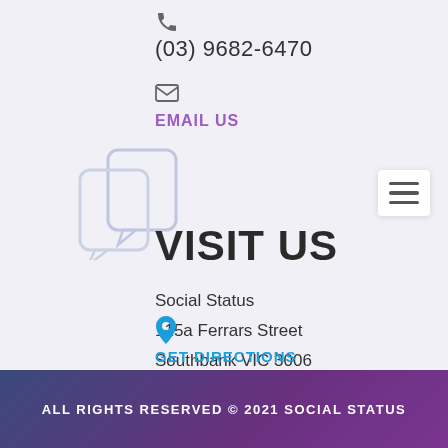(03) 9682-6470
EMAIL US
VISIT US
Social Status
115a Ferrars Street
Southbank VIC 3006
GET DIRECTIONS
ALL RIGHTS RESERVED © 2021 SOCIAL STATUS